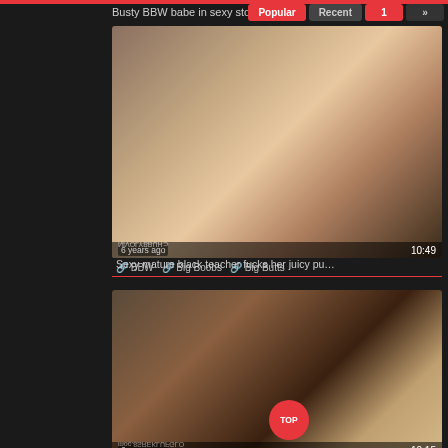Busty BBW babe in sexy sto...
[Figure (screenshot): Video thumbnail showing a woman on a couch, with overlay text CHUBBYLOVIN mirrored, timestamp 10:49, age 6 years ago]
BBW  Big Boobs  Big Butts
Sexy mature black teacher fucks her juicy pussy ...
[Figure (screenshot): Video thumbnail showing a woman in a classroom setting, with TOP button overlay, timestamp 10:15, age 6 years ago, watermark OLDFUKERS8.com mirrored]